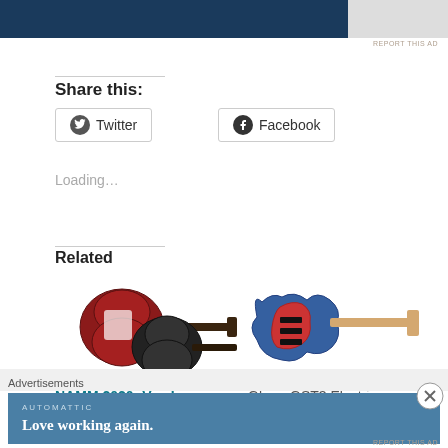[Figure (screenshot): Top advertisement banner showing dark blue background with partial image on right side, with 'REPORT THIS AD' text link below]
Share this:
Twitter
Facebook
Loading…
Related
[Figure (photo): Two electric guitars overlapping - a red semi-hollow body guitar and a black guitar]
[Figure (photo): Blue and red Stratocaster-style electric guitar]
NAMM 2020: Vox Is
Glarry GST3 Electric
[Figure (screenshot): Bottom advertisement bar with Automattic branding and 'Love working again.' tagline on blue background]